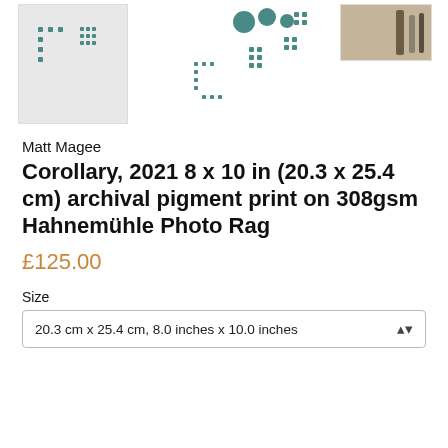[Figure (photo): Thumbnail images of artwork prints at the top of the page, showing three images side by side: a teal geometric dot pattern artwork on light background (left), a teal dot/circle pattern (center), and a partial photo of art supplies/brushes (right)]
Matt Magee
Corollary, 2021 8 x 10 in (20.3 x 25.4 cm) archival pigment print on 308gsm Hahnemühle Photo Rag
£125.00
Size
20.3 cm x 25.4 cm, 8.0 inches x 10.0 inches